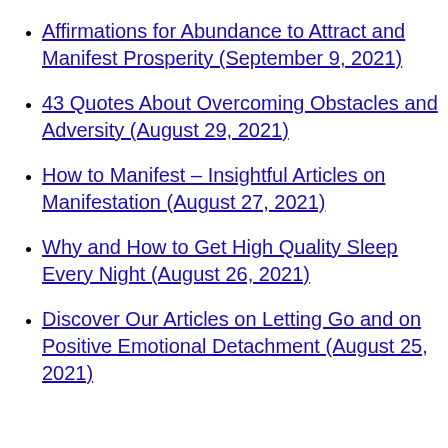Affirmations for Abundance to Attract and Manifest Prosperity (September 9, 2021)
43 Quotes About Overcoming Obstacles and Adversity (August 29, 2021)
How to Manifest – Insightful Articles on Manifestation (August 27, 2021)
Why and How to Get High Quality Sleep Every Night (August 26, 2021)
Discover Our Articles on Letting Go and on Positive Emotional Detachment (August 25, 2021)